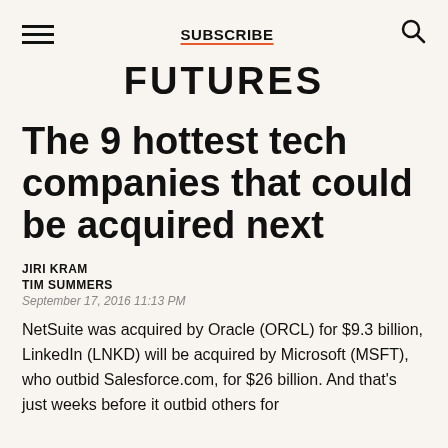SUBSCRIBE
FUTURES
The 9 hottest tech companies that could be acquired next
JIRI KRAM
TIM SUMMERS
September 17, 2016 11:13 PM
NetSuite was acquired by Oracle (ORCL) for $9.3 billion, LinkedIn (LNKD) will be acquired by Microsoft (MSFT), who outbid Salesforce.com, for $26 billion. And that's just weeks before it outbid others for